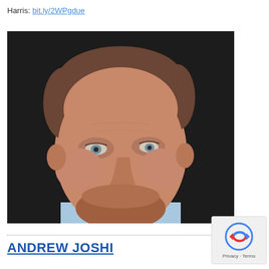Harris: bit.ly/2WPgdue
[Figure (photo): Headshot of a middle-aged man with reddish-brown hair slicked back, gray-blue eyes, and a short reddish-brown beard, wearing a light blue shirt, against a dark background.]
ANDREW JOSHI